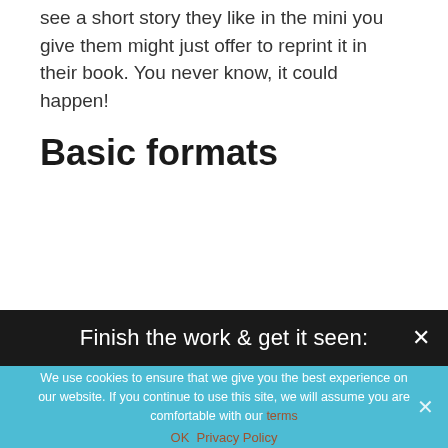keep that in mind. Also, anthology editors who see a short story they like in the mini you give them might just offer to reprint it in their book. You never know, it could happen!
Basic formats
[Figure (infographic): Folding Guide diagram showing three dashed-border rectangles representing different folding formats, with numbers 2, 1 visible inside cutout areas]
Finish the work & get it seen: ×
We use cookies to ensure that we give you the best experience on our website. If you continue to use this site, we will assume you are comfortable with our terms
OK   Privacy Policy